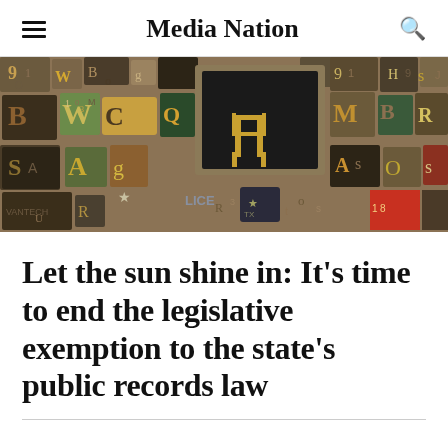Media Nation
[Figure (photo): A mosaic/collage of vintage wooden and metal typeset letters and characters in various sizes and colors, with a dark framed square in the center showing a wooden chair silhouette. The letters include many typefaces and are arranged densely across the image.]
Let the sun shine in: It’s time to end the legislative exemption to the state’s public records law